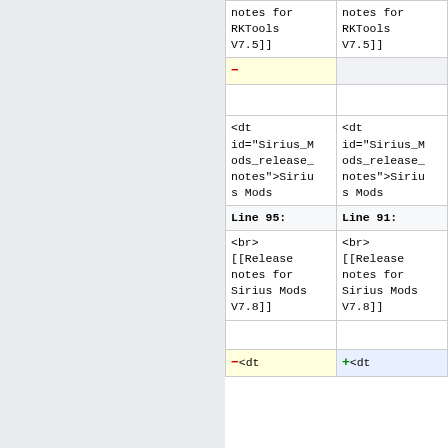| Left (old) | Right (new) |
| --- | --- |
| notes for RKTools V7.5]] | notes for RKTools V7.5]] |
| − |  |
|  |  |
| <dt id="Sirius_Mods_release_notes">Sirius Mods | <dt id="Sirius_Mods_release_notes">Sirius Mods |
| Line 95: | Line 91: |
| <br> [[Release notes for Sirius Mods V7.8]] | <br> [[Release notes for Sirius Mods V7.8]] |
|  |  |
| −<dt | +<dt |